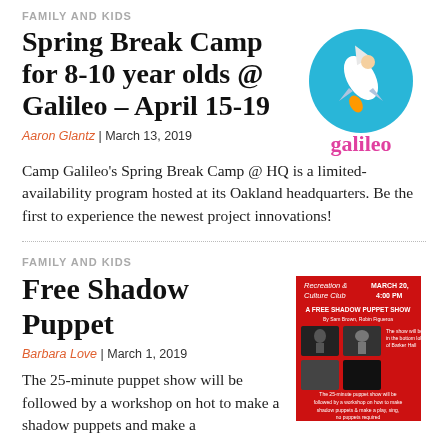FAMILY AND KIDS
Spring Break Camp for 8-10 year olds @ Galileo – April 15-19
Aaron Glantz | March 13, 2019
[Figure (logo): Galileo logo: blue circle with rocket and child, with 'galileo' text in magenta below]
Camp Galileo's Spring Break Camp @ HQ is a limited-availability program hosted at its Oakland headquarters. Be the first to experience the newest project innovations!
FAMILY AND KIDS
Free Shadow Puppet
Barbara Love | March 1, 2019
[Figure (photo): Red poster for a Free Shadow Puppet Show on March 20, 4:00 PM by Recreation & Culture Club, with images of shadow puppets]
The 25-minute puppet show will be followed by a workshop on hot to make a shadow puppets and make a